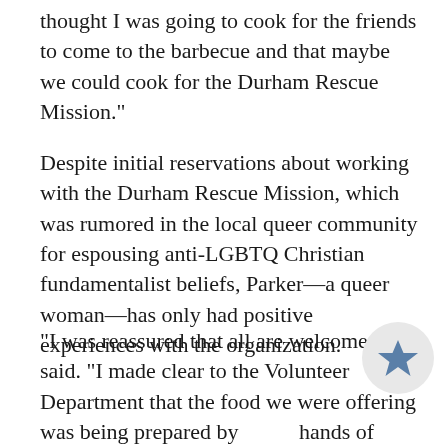thought I was going to cook for the friends to come to the barbecue and that maybe we could cook for the Durham Rescue Mission."
Despite initial reservations about working with the Durham Rescue Mission, which was rumored in the local queer community for espousing anti-LGBTQ Christian fundamentalist beliefs, Parker—a queer woman—has only had positive experiences with the organization.
"I was reassured that all are welcome," she said. "I made clear to the Volunteer Department that the food we were offering was being prepared by hands of 'happy homosexuals' and if they were OK